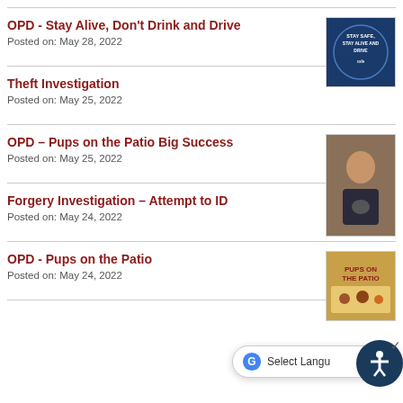OPD - Stay Alive, Don't Drink and Drive
Posted on: May 28, 2022
Theft Investigation
Posted on: May 25, 2022
OPD – Pups on the Patio Big Success
Posted on: May 25, 2022
Forgery Investigation – Attempt to ID
Posted on: May 24, 2022
OPD - Pups on the Patio
Posted on: May 24, 2022